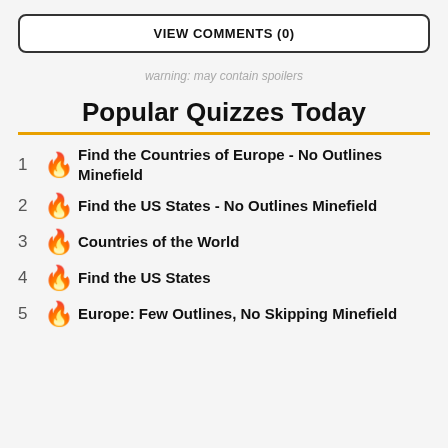VIEW COMMENTS (0)
warning: may contain spoilers
Popular Quizzes Today
1 Find the Countries of Europe - No Outlines Minefield
2 Find the US States - No Outlines Minefield
3 Countries of the World
4 Find the US States
5 Europe: Few Outlines, No Skipping Minefield